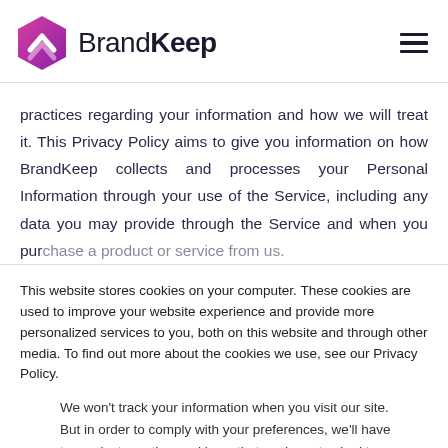[Figure (logo): BrandKeep logo: hexagonal pink/magenta icon with white chevron shape, followed by text 'BrandKeep' in dark navy, with hamburger menu icon on the right]
practices regarding your information and how we will treat it. This Privacy Policy aims to give you information on how BrandKeep collects and processes your Personal Information through your use of the Service, including any data you may provide through the Service and when you purchase a product or service from us.
This website stores cookies on your computer. These cookies are used to improve your website experience and provide more personalized services to you, both on this website and through other media. To find out more about the cookies we use, see our Privacy Policy.
We won't track your information when you visit our site. But in order to comply with your preferences, we'll have to use just one tiny cookie so that you're not asked to make this choice again.
Accept | Decline